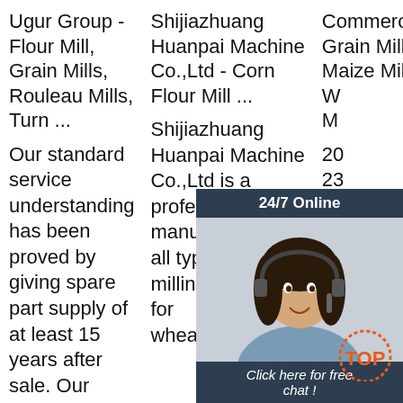Ugur Group - Flour Mill, Grain Mills, Rouleau Mills, Turn ...
Shijiazhuang Huanpai Machine Co.,Ltd - Corn Flour Mill ...
Commercial Grain Mill - Maize Mills, W... M...
Our standard service understanding has been proved by giving spare part supply of at least 15 years after sale. Our
Shijiazhuang Huanpai Machine Co.,Ltd is a professional manufacturer of all types of flour milling machine for wheat/maize/corn
20... 23... Fa... Sa... - 5... M... Tenfold. 50T/D MAIZE MILL MACHINE 1. 50T/24H automatic
[Figure (screenshot): Live chat widget overlay showing '24/7 Online' header, a customer service representative photo, 'Click here for free chat!' text link, and an orange QUOTATION button.]